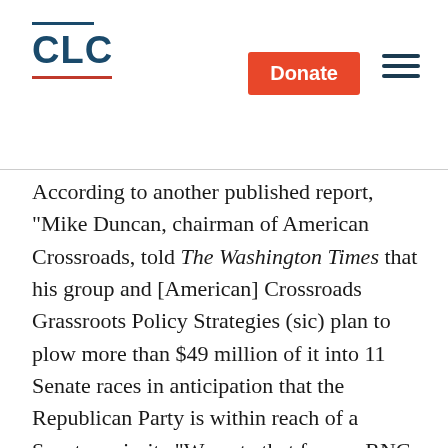CLC | Donate
According to another published report, "Mike Duncan, chairman of American Crossroads, told The Washington Times that his group and [American] Crossroads Grassroots Policy Strategies (sic) plan to plow more than $49 million of it into 11 Senate races in anticipation that the Republican Party is within reach of a Senate majority."We note that former RNC Chairman Duncan is not quoted as saying the two groups plan to spend more than $49 million to promote lower taxes or reduced government spending, but rather to plow into 11 Senate races.